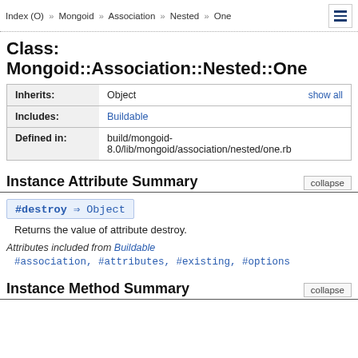Index (O) » Mongoid » Association » Nested » One
Class: Mongoid::Association::Nested::One
| Inherits: | Object | show all |
| Includes: | Buildable |  |
| Defined in: | build/mongoid-8.0/lib/mongoid/association/nested/one.rb |  |
Instance Attribute Summary
#destroy ⇒ Object
Returns the value of attribute destroy.
Attributes included from Buildable
#association, #attributes, #existing, #options
Instance Method Summary